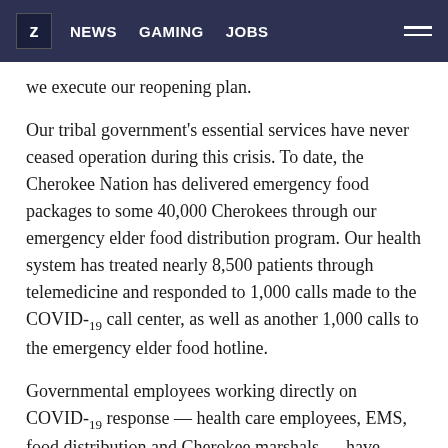Z NEWS GAMING JOBS
we execute our reopening plan.
Our tribal government's essential services have never ceased operation during this crisis. To date, the Cherokee Nation has delivered emergency food packages to some 40,000 Cherokees through our emergency elder food distribution program. Our health system has treated nearly 8,500 patients through telemedicine and responded to 1,000 calls made to the COVID-19 call center, as well as another 1,000 calls to the emergency elder food hotline.
Governmental employees working directly on COVID-19 response — health care employees, EMS, food distribution and Cherokee marshals — have continued operating under their regular schedules.